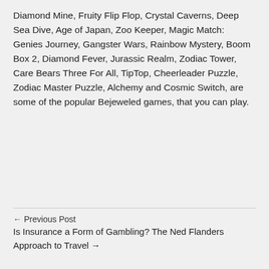Diamond Mine, Fruity Flip Flop, Crystal Caverns, Deep Sea Dive, Age of Japan, Zoo Keeper, Magic Match: Genies Journey, Gangster Wars, Rainbow Mystery, Boom Box 2, Diamond Fever, Jurassic Realm, Zodiac Tower, Care Bears Three For All, TipTop, Cheerleader Puzzle, Zodiac Master Puzzle, Alchemy and Cosmic Switch, are some of the popular Bejeweled games, that you can play.
← Previous Post
Is Insurance a Form of Gambling? The Ned Flanders Approach to Travel →